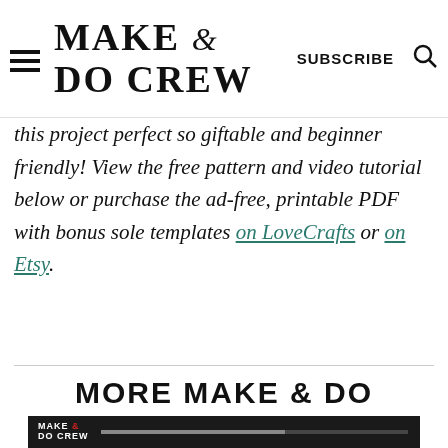MAKE & DO CREW — SUBSCRIBE [search icon]
this project perfect so giftable and beginner friendly! View the free pattern and video tutorial below or purchase the ad-free, printable PDF with bonus sole templates on LoveCrafts or on Etsy.
MORE MAKE & DO CREW TUTORIALS
[Figure (screenshot): Video thumbnail with Make & Do Crew logo on dark background, showing beginning of a video player with progress bar]